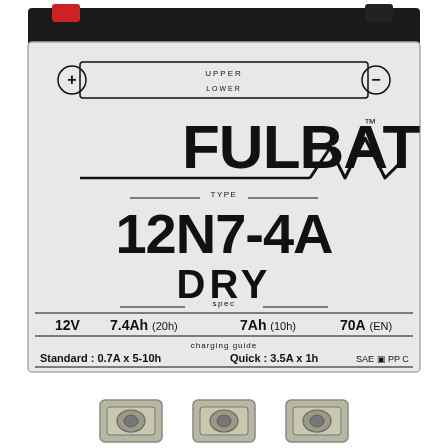[Figure (photo): Photo of a Fulbat 12N7-4A dry motorcycle battery showing the front label with brand name FULBAT with lightning bolt logo, battery type 12N7-4A, DRY spec, specifications: 12V, 7.4Ah (20h), 7Ah (10h), 70A (EN), charging guide: Standard 0.7A x 5-10h, Quick 3.5A x 1h, SAE PP. Battery has black top with terminals and a white body with UPPER/LOWER level indicators. Below the battery are three metal terminal connectors/washers.]